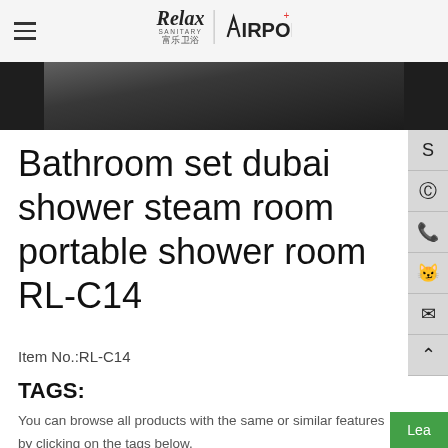Relax Sanitary | VIRPOL
[Figure (photo): Dark tile floor product image strip]
Bathroom set dubai shower steam room portable shower room RL-C14
Item No.:RL-C14
TAGS:
You can browse all products with the same or similar features by clicking on the tags below.